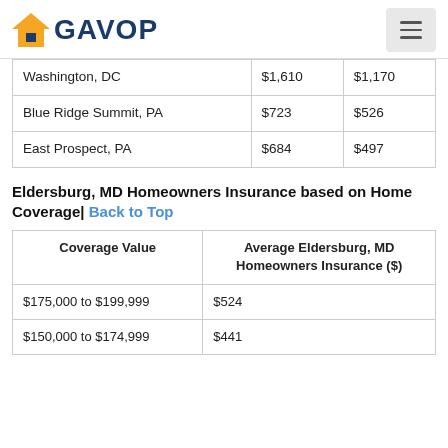GAVOP
| Washington, DC | $1,610 | $1,170 |
| Blue Ridge Summit, PA | $723 | $526 |
| East Prospect, PA | $684 | $497 |
Eldersburg, MD Homeowners Insurance based on Home Coverage| Back to Top
| Coverage Value | Average Eldersburg, MD Homeowners Insurance ($) |
| --- | --- |
| $175,000 to $199,999 | $524 |
| $150,000 to $174,999 | $441 |